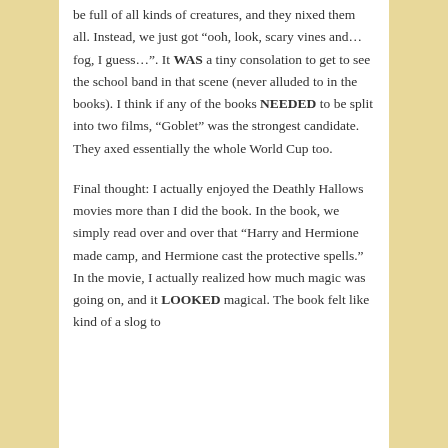be full of all kinds of creatures, and they nixed them all. Instead, we just got “ooh, look, scary vines and…fog, I guess…”. It WAS a tiny consolation to get to see the school band in that scene (never alluded to in the books). I think if any of the books NEEDED to be split into two films, “Goblet” was the strongest candidate. They axed essentially the whole World Cup too.
Final thought: I actually enjoyed the Deathly Hallows movies more than I did the book. In the book, we simply read over and over that “Harry and Hermione made camp, and Hermione cast the protective spells.” In the movie, I actually realized how much magic was going on, and it LOOKED magical. The book felt like kind of a slog to